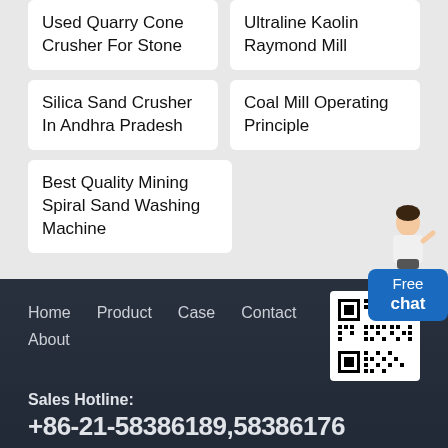Used Quarry Cone Crusher For Stone
Ultraline Kaolin Raymond Mill
Silica Sand Crusher In Andhra Pradesh
Coal Mill Operating Principle
Best Quality Mining Spiral Sand Washing Machine
[Figure (other): Customer service representative illustration with Free chat button]
Home   Product   Case   Contact   About
[Figure (other): QR code for website]
Sales Hotline:
+86-21-58386189,58386176
Copyright © 2022 Shibang Industry & Technology Group Co., Ltd.   Online Chat | Contact Us | sitemap